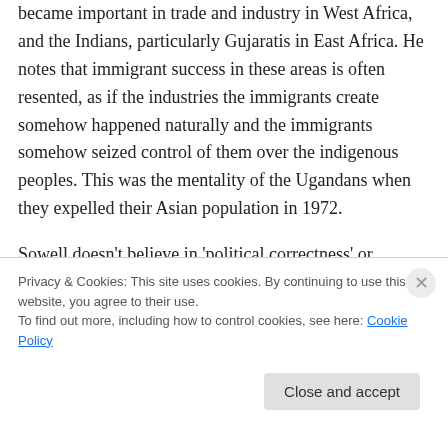became important in trade and industry in West Africa, and the Indians, particularly Gujaratis in East Africa. He notes that immigrant success in these areas is often resented, as if the industries the immigrants create somehow happened naturally and the immigrants somehow seized control of them over the indigenous peoples. This was the mentality of the Ugandans when they expelled their Asian population in 1972.
Sowell doesn't believe in 'political correctness' or multiculturalism, and states that often the association
Privacy & Cookies: This site uses cookies. By continuing to use this website, you agree to their use.
To find out more, including how to control cookies, see here: Cookie Policy
Close and accept